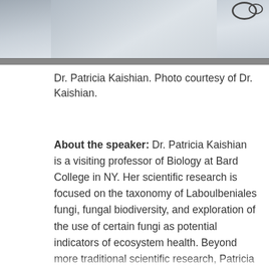[Figure (photo): Photo of Dr. Patricia Kaishian, partially cropped at top, showing upper body in light-colored clothing with glasses visible at top right.]
Dr. Patricia Kaishian. Photo courtesy of Dr. Kaishian.
About the speaker: Dr. Patricia Kaishian is a visiting professor of Biology at Bard College in NY. Her scientific research is focused on the taxonomy of Laboulbeniales fungi, fungal biodiversity, and exploration of the use of certain fungi as potential indicators of ecosystem health. Beyond more traditional scientific research, Patricia works in the realms of philosophy of science, feminist bioscience, ecofeminism and queer theory, exploring how mycology and other scientific disciplines are situated in and informed by our sociopolitical landscape. Her publication, The science underground: mycology as a queer discipline